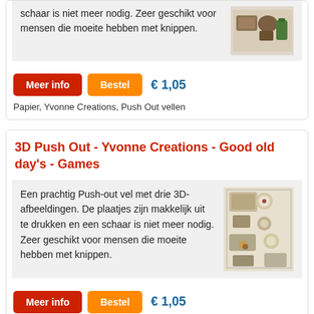schaar is niet meer nodig. Zeer geschikt voor mensen die moeite hebben met knippen.
Meer info | Bestel | € 1,05
Papier, Yvonne Creations, Push Out vellen
3D Push Out - Yvonne Creations - Good old day's - Games
Een prachtig Push-out vel met drie 3D-afbeeldingen. De plaatjes zijn makkelijk uit te drukken en een schaar is niet meer nodig. Zeer geschikt voor mensen die moeite hebben met knippen.
Meer info | Bestel | € 1,05